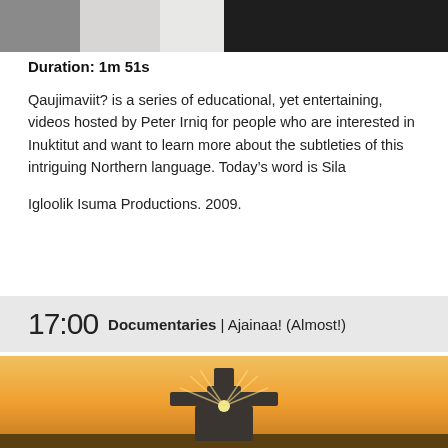[Figure (photo): Top partial photo showing two people, one in white/grey and one in black clothing, cropped at bottom portion]
Duration: 1m 51s
Qaujimaviit? is a series of educational, yet entertaining, videos hosted by Peter Irniq for people who are interested in Inuktitut and want to learn more about the subtleties of this intriguing Northern language. Today's word is Sila
Igloolik Isuma Productions. 2009.
17:00 Documentaries | Ajainaa! (Almost!)
[Figure (photo): Sunset landscape photo showing an inukshuk stone figure silhouetted against an orange and golden sky with sun rays]